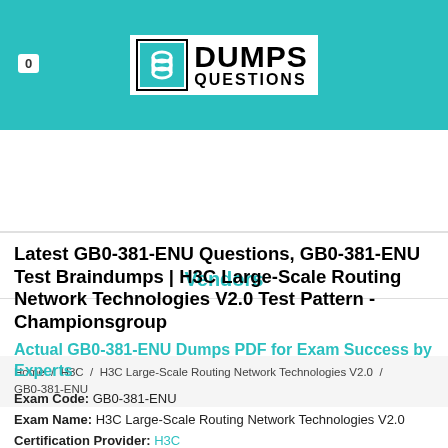[Figure (logo): DumpsQuestions logo with teal background header bar and badge showing 0]
Vendors
Home / H3C / H3C Large-Scale Routing Network Technologies V2.0 / GB0-381-ENU
Latest GB0-381-ENU Questions, GB0-381-ENU Test Braindumps | H3C Large-Scale Routing Network Technologies V2.0 Test Pattern - Championsgroup
Actual GB0-381-ENU Dumps PDF for Exam Success by Experts
Exam Code: GB0-381-ENU
Exam Name: H3C Large-Scale Routing Network Technologies V2.0
Certification Provider: H3C
Related Certification: H3C Large-Scale Routing Network Technologies V2.0,